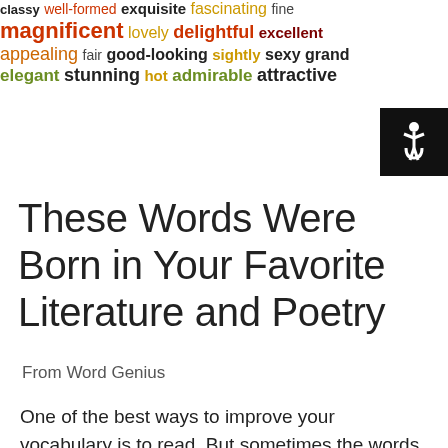[Figure (infographic): Word cloud featuring adjectives in various colors (gold, red, dark red, olive/dark yellow, dark gray) including: classy, well-formed, exquisite, magnificent, lovely, delightful, fascinating, fine, appealing, fair, good-looking, sightly, excellent, sexy, grand, elegant, stunning, hot, admirable, attractive]
These Words Were Born in Your Favorite Literature and Poetry
From Word Genius
One of the best ways to improve your vocabulary is to read. But sometimes the words you come across in your favorite